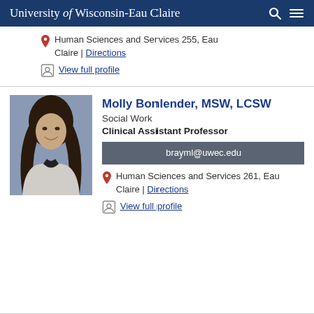University of Wisconsin-Eau Claire
Human Sciences and Services 255, Eau Claire | Directions
View full profile
[Figure (photo): Portrait photo of Molly Bonlender, a young woman with long dark hair, smiling, wearing a light blazer]
Molly Bonlender, MSW, LCSW
Social Work
Clinical Assistant Professor
brayml@uwec.edu
Human Sciences and Services 261, Eau Claire | Directions
View full profile